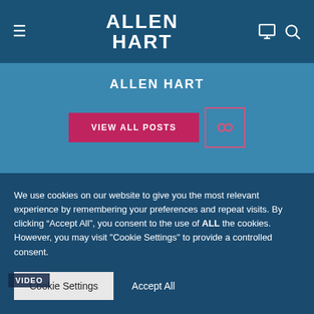ALLEN HART
ALLEN HART
VIEW ALL POSTS
YOU MAY ALSO LIKE
[Figure (photo): Video thumbnail showing a man's face on a blue background on the left, and BAXI logo text on the right]
We use cookies on our website to give you the most relevant experience by remembering your preferences and repeat visits. By clicking “Accept All”, you consent to the use of ALL the cookies. However, you may visit "Cookie Settings" to provide a controlled consent.
Cookie Settings   Accept All